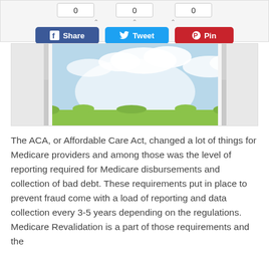[Figure (screenshot): Social share bar with counter boxes showing 0, share buttons for Facebook (Share), Twitter (Tweet), and Pinterest (Pin)]
[Figure (illustration): Open window illustration with blue sky, white clouds, green grass visible through the open window panels]
The ACA, or Affordable Care Act, changed a lot of things for Medicare providers and among those was the level of reporting required for Medicare disbursements and collection of bad debt. These requirements put in place to prevent fraud come with a load of reporting and data collection every 3-5 years depending on the regulations. Medicare Revalidation is a part of those requirements and the